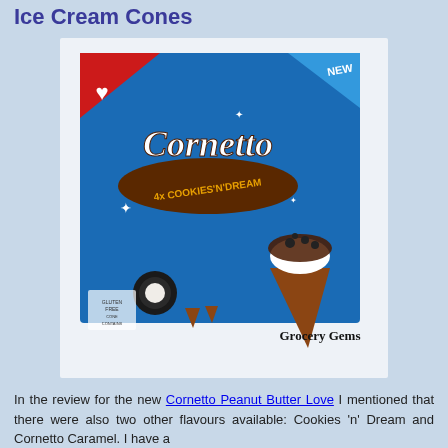Ice Cream Cones
[Figure (photo): Cornetto Cookies 'n' Dream 4-pack box product photo. Box is blue with red Walls heart logo in top left, 'NEW' banner in top right, Cornetto brand name in white script, '4x COOKIES'N'DREAM' text, showing an ice cream cone with chocolate topping and cookies. 'Grocery Gems' watermark at bottom right.]
In the review for the new Cornetto Peanut Butter Love I mentioned that there were also two other flavours available: Cookies 'n' Dream and Cornetto Caramel. I have a